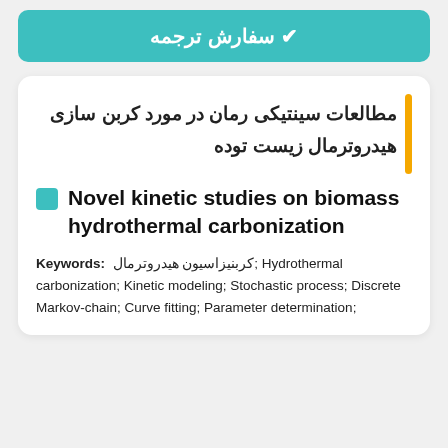✔ سفارش ترجمه
مطالعات سینتیکی رمان در مورد کربن سازی هیدروترمال زیست توده
Novel kinetic studies on biomass hydrothermal carbonization
Keywords: کربنیزاسیون هیدروترمال; Hydrothermal carbonization; Kinetic modeling; Stochastic process; Discrete Markov-chain; Curve fitting; Parameter determination;